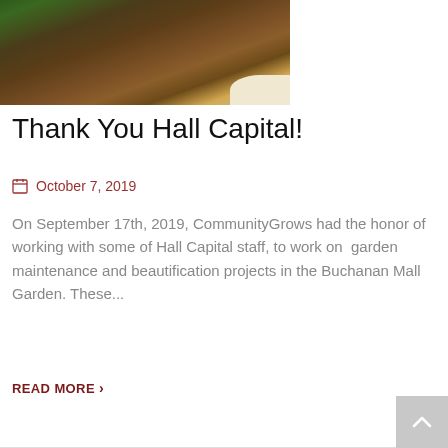[Figure (photo): Photo of a raised wooden garden bed with mulched ground and greenery visible at the left edge, and a light-colored animal or object at the bottom right corner.]
Thank You Hall Capital!
October 7, 2019
On September 17th, 2019, CommunityGrows had the honor of working with some of Hall Capital staff, to work on  garden maintenance and beautification projects in the Buchanan Mall Garden. These...
READ MORE >